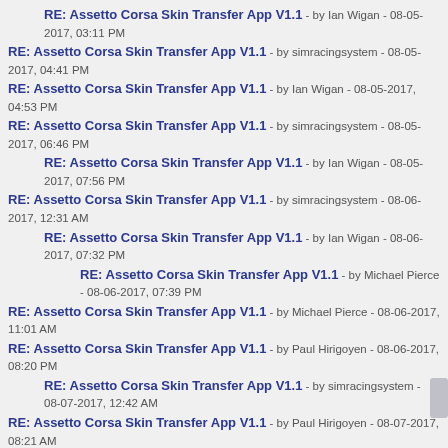RE: Assetto Corsa Skin Transfer App V1.1 - by Ian Wigan - 08-05-2017, 03:11 PM
RE: Assetto Corsa Skin Transfer App V1.1 - by simracingsystem - 08-05-2017, 04:41 PM
RE: Assetto Corsa Skin Transfer App V1.1 - by Ian Wigan - 08-05-2017, 04:53 PM
RE: Assetto Corsa Skin Transfer App V1.1 - by simracingsystem - 08-05-2017, 06:46 PM
RE: Assetto Corsa Skin Transfer App V1.1 - by Ian Wigan - 08-05-2017, 07:56 PM
RE: Assetto Corsa Skin Transfer App V1.1 - by simracingsystem - 08-06-2017, 12:31 AM
RE: Assetto Corsa Skin Transfer App V1.1 - by Ian Wigan - 08-06-2017, 07:32 PM
RE: Assetto Corsa Skin Transfer App V1.1 - by Michael Pierce - 08-06-2017, 07:39 PM
RE: Assetto Corsa Skin Transfer App V1.1 - by Michael Pierce - 08-06-2017, 11:01 AM
RE: Assetto Corsa Skin Transfer App V1.1 - by Paul Hirigoyen - 08-06-2017, 08:20 PM
RE: Assetto Corsa Skin Transfer App V1.1 - by simracingsystem - 08-07-2017, 12:42 AM
RE: Assetto Corsa Skin Transfer App V1.1 - by Paul Hirigoyen - 08-07-2017, 08:21 AM
RE: Assetto Corsa Skin Transfer App V1.1 - by Stan Donit - 08-08-2017, 03:54 PM
RE: Assetto Corsa Skin Transfer App V1.1 - by simracingsystem - 08-08-2017, 04:31 PM
RE: Assetto Corsa Skin Transfer App V1.1 - (truncated)